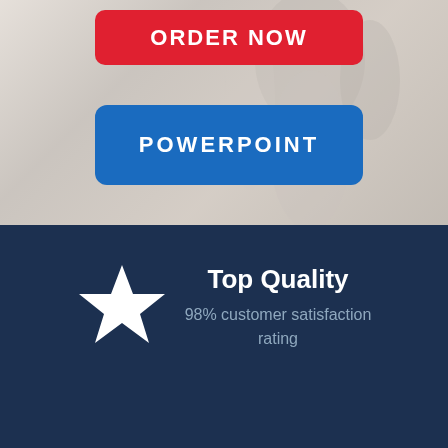[Figure (illustration): Background image of a person in white clothing, faded/washed out appearance serving as background for the top section]
ORDER NOW
POWERPOINT
[Figure (infographic): Dark navy blue section with a white star icon on the left and text on the right reading 'Top Quality' and '98% customer satisfaction rating']
Top Quality
98% customer satisfaction rating